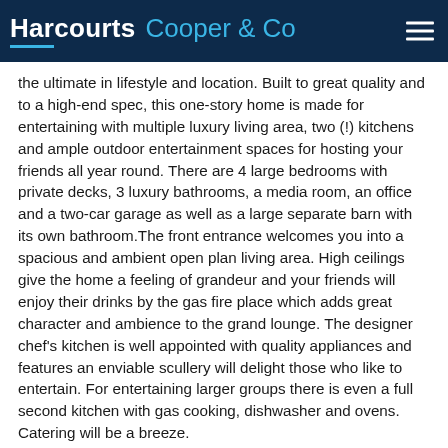Harcourts Cooper & Co
the ultimate in lifestyle and location. Built to great quality and to a high-end spec, this one-story home is made for entertaining with multiple luxury living area, two (!) kitchens and ample outdoor entertainment spaces for hosting your friends all year round. There are 4 large bedrooms with private decks, 3 luxury bathrooms, a media room, an office and a two-car garage as well as a large separate barn with its own bathroom.The front entrance welcomes you into a spacious and ambient open plan living area. High ceilings give the home a feeling of grandeur and your friends will enjoy their drinks by the gas fire place which adds great character and ambience to the grand lounge. The designer chef's kitchen is well appointed with quality appliances and features an enviable scullery will delight those who like to entertain. For entertaining larger groups there is even a full second kitchen with gas cooking, dishwasher and ovens. Catering will be a breeze.
The large entertainment decks will be the place where lifelong memories are made with long summer BBQ's with family and friends.